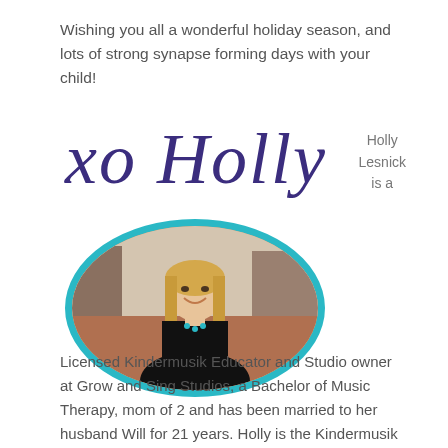Wishing you all a wonderful holiday season, and lots of strong synapse forming days with your child!
[Figure (illustration): Handwritten cursive script signature reading 'xo Holly' in dark purple ink]
Holly Lesnick is a
[Figure (photo): Oval portrait photo of a smiling woman with blonde hair, wearing a black top and teal necklace, framed with a teal/turquoise oval border]
Licensed Kindermusik Educator and Studio owner at Grow and Sing Studios, a Bachelor of Music Therapy, mom of 2 and has been married to her husband Will for 21 years. Holly is the Kindermusik International Brand Ambassador for the U.S., and always happy to collaborate with brands